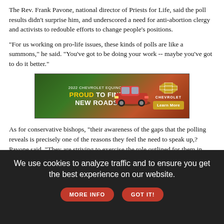The Rev. Frank Pavone, national director of Priests for Life, said the poll results didn't surprise him, and underscored a need for anti-abortion clergy and activists to redouble efforts to change people's positions.
"For us working on pro-life issues, these kinds of polls are like a summons," he said. "You've got to be doing your work -- maybe you've got to do it better."
[Figure (other): 2022 Chevrolet Equinox advertisement banner: 'PROUD TO FIND NEW ROADS' with a red SUV and Chevrolet logo, Learn More button]
As for conservative bishops, "their awareness of the gaps that the polling reveals is precisely one of the reasons they feel the need to speak up,? Pavone said. "They are striving to exercise the role outlined for them in Scripture, namely, to patiently and persistently teach the faith, whether convenient or inconvenient, to clear up confusion."
We use cookies to analyze traffic and to ensure you get the best experience on our website. MORE INFO GOT IT!